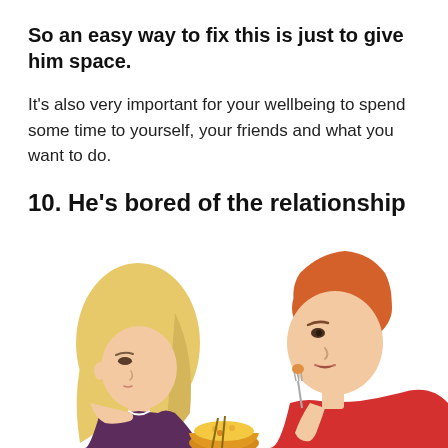So an easy way to fix this is just to give him space.
It's also very important for your wellbeing to spend some time to yourself, your friends and what you want to do.
10. He's bored of the relationship
[Figure (illustration): Illustration of a woman with blonde hair resting her chin on her hand looking sad, and a red-haired man eating from a bowl with a fork, appearing disengaged. A bowl of food is in the center between them.]